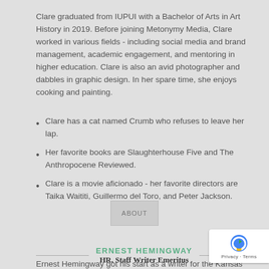Clare graduated from IUPUI with a Bachelor of Arts in Art History in 2019. Before joining Metonymy Media, Clare worked in various fields - including social media and brand management, academic engagement, and mentoring in higher education. Clare is also an avid photographer and dabbles in graphic design. In her spare time, she enjoys cooking and painting.
Clare has a cat named Crumb who refuses to leave her lap.
Her favorite books are Slaughterhouse Five and The Anthropocene Reviewed.
Clare is a movie aficionado - her favorite directors are Taika Waititi, Guillermo del Toro, and Peter Jackson.
[Figure (other): ABOUT section image placeholder]
ERNEST HEMINGWAY
HR, Staff Writer Emeritus
Ernest Hemingway got his start as a writer for the Kansas City